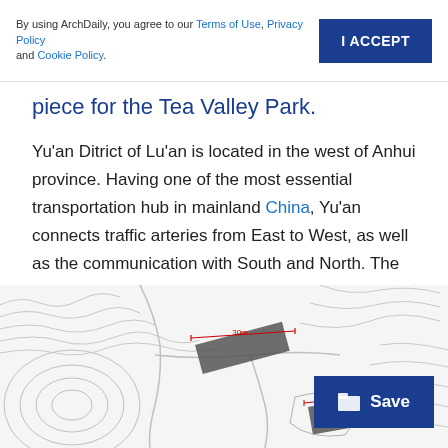By using ArchDaily, you agree to our Terms of Use, Privacy Policy and Cookie Policy.
piece for the Tea Valley Park.
Yu'an Ditrict of Lu'an is located in the west of Anhui province. Having one of the most essential transportation hub in mainland China, Yu'an connects traffic arteries from East to West, as well as the communication with South and North. The unique Tea culture of Liu'an emerged around mountain Dabieshan, nourished by three rivers - River Pi, Shi and Hang.
[Figure (map): Topographic/site map showing contour lines of hilly terrain with two dark building footprints indicated by red dimension lines labeled 30m and 12m]